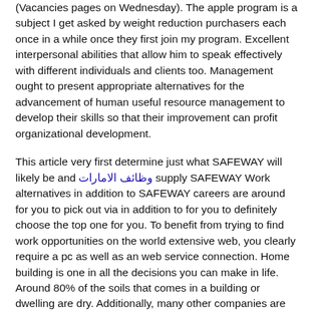(Vacancies pages on Wednesday). The apple program is a subject I get asked by weight reduction purchasers each once in a while once they first join my program. Excellent interpersonal abilities that allow him to speak effectively with different individuals and clients too. Management ought to present appropriate alternatives for the advancement of human useful resource management to develop their skills so that their improvement can profit organizational development.
This article very first determine just what SAFEWAY will likely be and وظائف الامارات supply SAFEWAY Work alternatives in addition to SAFEWAY careers are around for you to pick out via in addition to for you to definitely choose the top one for you. To benefit from trying to find work opportunities on the world extensive web, you clearly require a pc as well as an web service connection. Home building is one in all the decisions you can make in life. Around 80% of the soils that comes in a building or dwelling are dry. Additionally, many other companies are trying to find employees. I've seen companies that had been extremely stable and worthwhile and previous the entire suddent lay off 300 individuals because there was only a change in path of how they wanted to function. There are several completely different sorts of surveys that might require that totally different surveyors with completely different specialties for a particular undertaking or plot of land. If you want the good thing about working for another person but want the eligibility of creating your own schedule, there are many ways